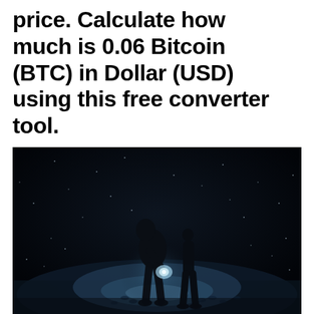price. Calculate how much is 0.06 Bitcoin (BTC) in Dollar (USD) using this free converter tool.
[Figure (photo): Dark night scene showing a silhouette of a person bending over, illuminated from below by a glowing light source, surrounded by rain or snow particles and footprints on a dark ground.]